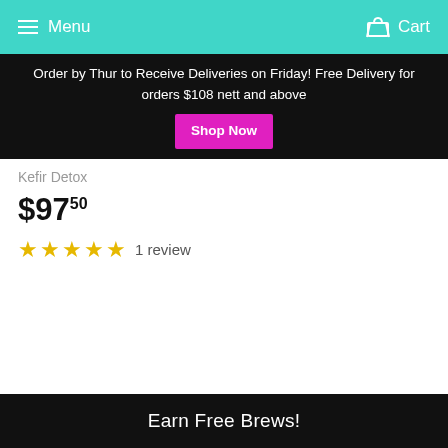Menu  Cart
Order by Thur to Receive Deliveries on Friday! Free Delivery for orders $108 nett and above  Shop Now
Kefir Detox
$97.50
★★★★★ 1 review
Quick links
Search
Earn Free Brews!